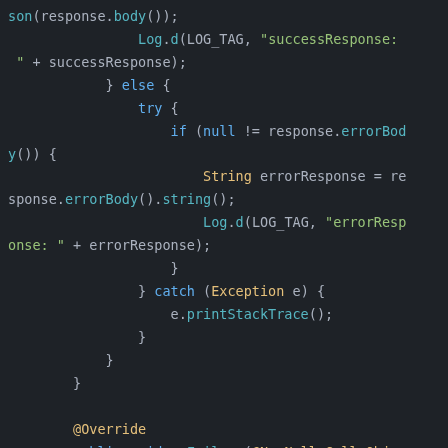[Figure (screenshot): Code editor screenshot showing Java/Android code snippet with syntax highlighting on dark background. Code includes JSON parsing, logging, error handling with try/catch, and onFailure override method.]